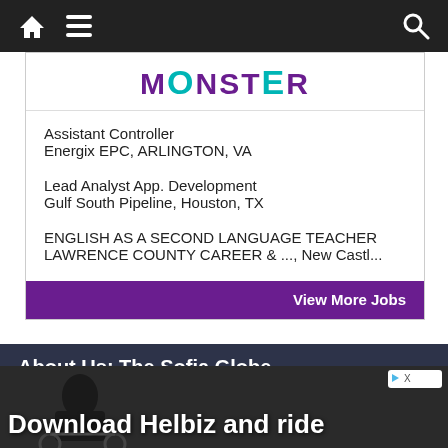Navigation bar with home, menu, and search icons
[Figure (logo): Monster.com logo in purple with teal O letters]
Assistant Controller
Energix EPC, ARLINGTON, VA
Lead Analyst App. Development
Gulf South Pipeline, Houston, TX
ENGLISH AS A SECOND LANGUAGE TEACHER
LAWRENCE COUNTY CAREER & ..., New Castl...
View More Jobs
About Us: The Sofia Globe
We use cookies to ensure that we give you the best experience on website. If you continue to use this site we will assume that you
[Figure (photo): Ad banner: Download Helbiz and ride — shows person with bicycle/scooter]